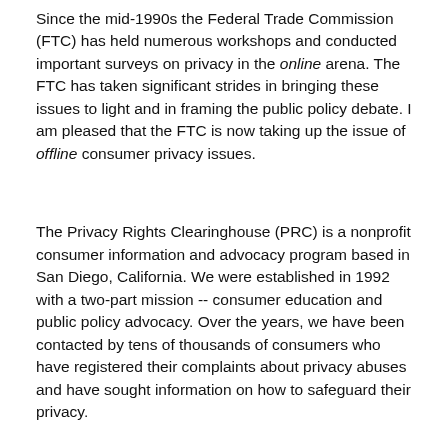Since the mid-1990s the Federal Trade Commission (FTC) has held numerous workshops and conducted important surveys on privacy in the online arena. The FTC has taken significant strides in bringing these issues to light and in framing the public policy debate. I am pleased that the FTC is now taking up the issue of offline consumer privacy issues.
The Privacy Rights Clearinghouse (PRC) is a nonprofit consumer information and advocacy program based in San Diego, California. We were established in 1992 with a two-part mission -- consumer education and public policy advocacy. Over the years, we have been contacted by tens of thousands of consumers who have registered their complaints about privacy abuses and have sought information on how to safeguard their privacy.
Our many fact sheets provide practical information on steps consumers can take to limit how their personal